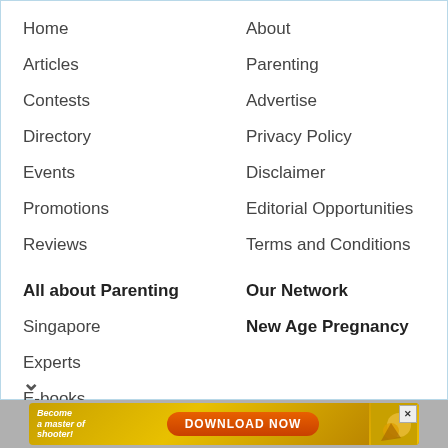Home
About
Articles
Parenting
Contests
Advertise
Directory
Privacy Policy
Events
Disclaimer
Promotions
Editorial Opportunities
Reviews
Terms and Conditions
All about Parenting
Our Network
Singapore
New Age Pregnancy
Experts
E-books
E-guides
[Figure (screenshot): Advertisement banner: 'Become a master of shooter! DOWNLOAD NOW' with orange button and game imagery]